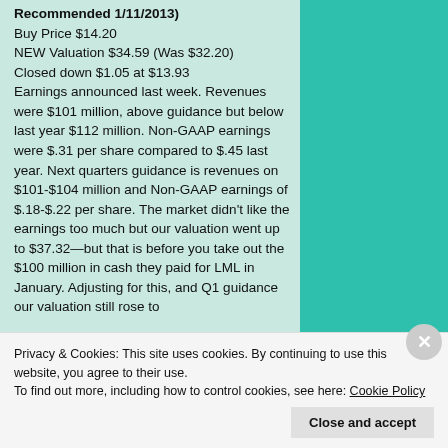Recommended 1/11/2013)
Buy Price $14.20
NEW Valuation $34.59 (Was $32.20)
Closed down $1.05 at $13.93
Earnings announced last week. Revenues were $101 million, above guidance but below last year $112 million. Non-GAAP earnings were $.31 per share compared to $.45 last year. Next quarters guidance is revenues on $101-$104 million and Non-GAAP earnings of $.18-$.22 per share. The market didn't like the earnings too much but our valuation went up to $37.32—but that is before you take out the $100 million in cash they paid for LML in January. Adjusting for this, and Q1 guidance our valuation still rose to
Privacy & Cookies: This site uses cookies. By continuing to use this website, you agree to their use.
To find out more, including how to control cookies, see here: Cookie Policy
Close and accept